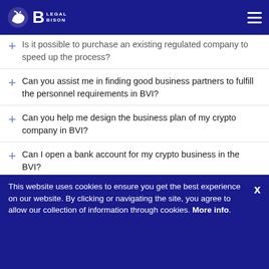Legal Bison
Is it possible to purchase an existing regulated company to speed up the process?
Can you assist me in finding good business partners to fulfill the personnel requirements in BVI?
Can you help me design the business plan of my crypto company in BVI?
Can I open a bank account for my crypto business in the BVI?
This website uses cookies to ensure you get the best experience on our website. By clicking or navigating the site, you agree to allow our collection of information through cookies. More info.